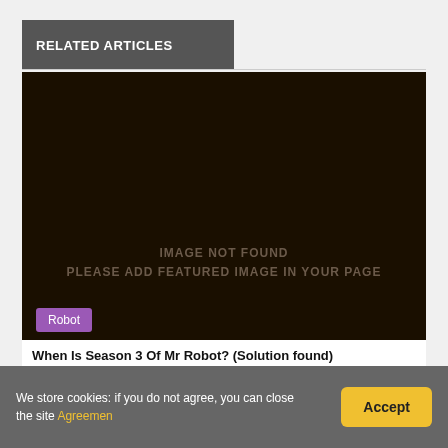RELATED ARTICLES
[Figure (photo): Dark brown/black image placeholder showing 'IMAGE NOT FOUND PLEASE ADD FEATURED IMAGE IN YOUR PAGE' text with a purple 'Robot' tag overlay at bottom left]
When Is Season 3 Of Mr Robot? (Solution found)
We store cookies: if you do not agree, you can close the site Agreement